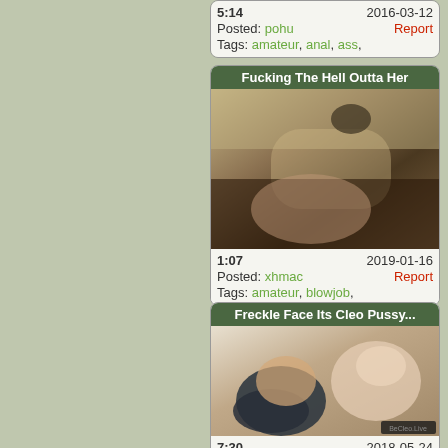5:14   2016-03-12
Posted: pohu   Report
Tags: amateur, anal, ass,
Fucking The Hell Outta Her
[Figure (photo): Video thumbnail showing a blurry close-up scene with dark and skin tones]
1:07   2019-01-16
Posted: xhmac   Report
Tags: amateur, blowjob,
Freckle Face Its Cleo Pussy...
[Figure (photo): Video thumbnail showing two women in swimwear/lingerie on a floor]
7:30   2018-05-24
Posted: xhmac   Report